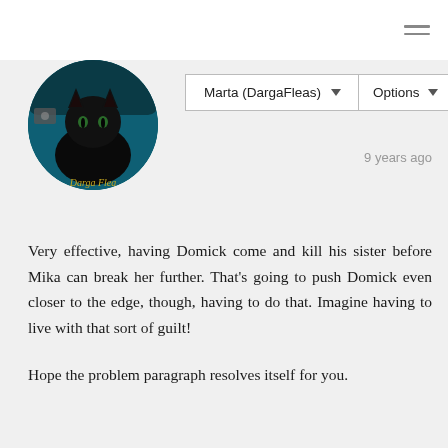[Figure (screenshot): Top navigation bar with hamburger menu icon (three horizontal lines) on the right side, white background]
[Figure (photo): Circular avatar image of a black cat against a teal/dark background with text 'Darga Flea' at the bottom]
Marta (DargaFleas)
Options
9 years ago
Very effective, having Domick come and kill his sister before Mika can break her further. That's going to push Domick even closer to the edge, though, having to do that. Imagine having to live with that sort of guilt!

Hope the problem paragraph resolves itself for you.